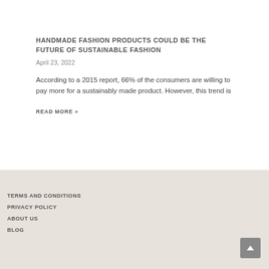HANDMADE FASHION PRODUCTS COULD BE THE FUTURE OF SUSTAINABLE FASHION
April 23, 2022
According to a 2015 report, 66% of the consumers are willing to pay more for a sustainably made product. However, this trend is
READ MORE »
TERMS AND CONDITIONS
PRIVACY POLICY
ABOUT US
BLOG